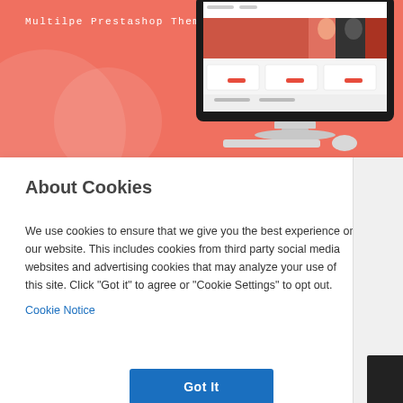[Figure (screenshot): Orange/coral banner with text 'Multilpe Prestashop Theme' and an iMac computer monitor displaying a website]
About Cookies
We use cookies to ensure that we give you the best experience on our website. This includes cookies from third party social media websites and advertising cookies that may analyze your use of this site. Click "Got it" to agree or "Cookie Settings" to opt out.
Cookie Notice
Got It
Cookies Settings